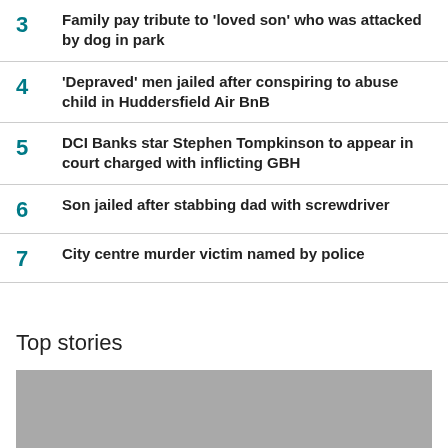3 Family pay tribute to 'loved son' who was attacked by dog in park
4 'Depraved' men jailed after conspiring to abuse child in Huddersfield Air BnB
5 DCI Banks star Stephen Tompkinson to appear in court charged with inflicting GBH
6 Son jailed after stabbing dad with screwdriver
7 City centre murder victim named by police
Top stories
[Figure (photo): Grey placeholder image for top stories section]